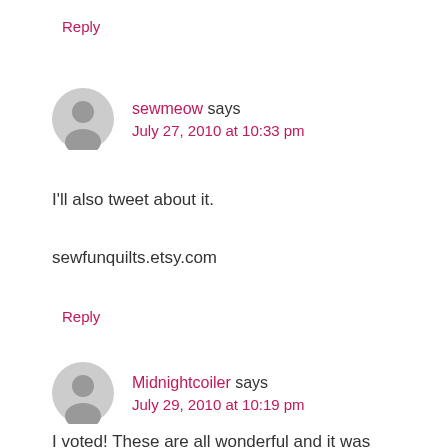Reply
sewmeow says
July 27, 2010 at 10:33 pm
I'll also tweet about it.
sewfunquilts.etsy.com
Reply
Midnightcoiler says
July 29, 2010 at 10:19 pm
I voted! These are all wonderful and it was